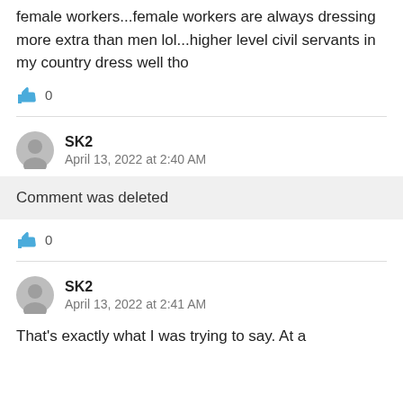female workers...female workers are always dressing more extra than men lol...higher level civil servants in my country dress well tho
[Figure (illustration): Thumbs-up like icon in blue, followed by count 0]
[Figure (illustration): Gray circular avatar icon for user SK2]
SK2
April 13, 2022 at 2:40 AM
Comment was deleted
[Figure (illustration): Thumbs-up like icon in blue, followed by count 0]
[Figure (illustration): Gray circular avatar icon for user SK2]
SK2
April 13, 2022 at 2:41 AM
That's exactly what I was trying to say. At a